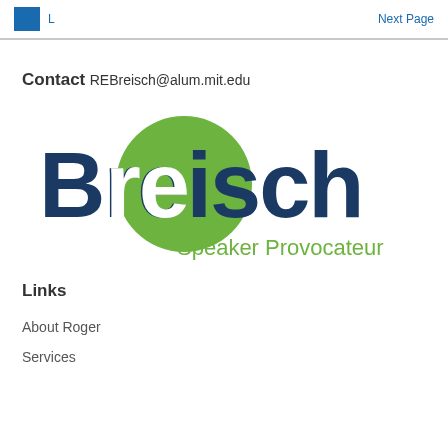Next Page
Contact
REBreisch@alum.mit.edu
[Figure (logo): Breisch Speaker Provocateur logo: large text 'Breisch' in dark navy blue with a green circle overlapping the 're' letters in white, and 'Speaker Provocateur' in green below]
Links
About Roger
Services